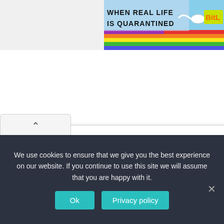[Figure (screenshot): Partial banner advertisement with rainbow colors and text 'WHEN REAL LIFE IS QUARANTINED' and 'BitL' logo on right side]
‘You will?’
‘Yes. I want you to meet him and Nnanna.’
‘Oh-ok,’ Ekene drawled.
‘Are you alright?’
We use cookies to ensure that we give you the best experience on our website. If you continue to use this site we will assume that you are happy with it.